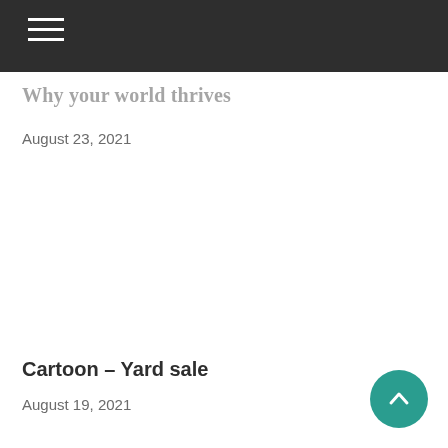Why your world thrives
August 23, 2021
Cartoon – Yard sale
August 19, 2021